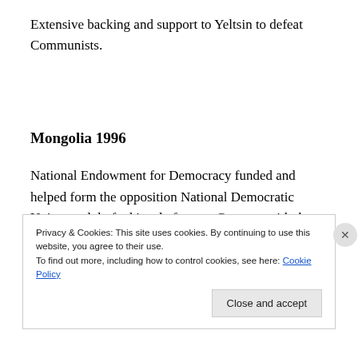Extensive backing and support to Yeltsin to defeat Communists.
Mongolia 1996
National Endowment for Democracy funded and helped form the opposition National Democratic Union, and drafted its platform, a Contract with the Mongolian Voter, based Newt Gingrich's Contract with America. The real
Privacy & Cookies: This site uses cookies. By continuing to use this website, you agree to their use.
To find out more, including how to control cookies, see here: Cookie Policy
Close and accept